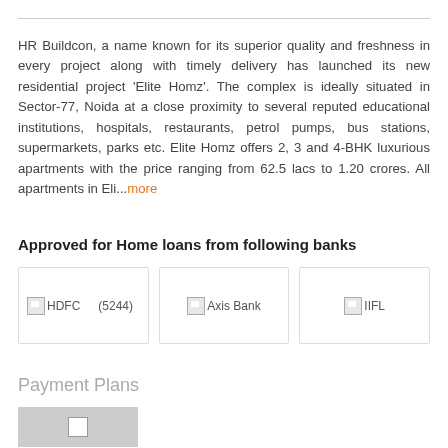HR Buildcon, a name known for its superior quality and freshness in every project along with timely delivery has launched its new residential project ‘Elite Homz’. The complex is ideally situated in Sector-77, Noida at a close proximity to several reputed educational institutions, hospitals, restaurants, petrol pumps, bus stations, supermarkets, parks etc. Elite Homz offers 2, 3 and 4-BHK luxurious apartments with the price ranging from 62.5 lacs to 1.20 crores. All apartments in Eli…more
Approved for Home loans from following banks
[Figure (logo): HDFC bank logo placeholder image with alt text 'HDFC (5244)']
[Figure (logo): Axis Bank logo placeholder image with alt text 'Axis Bank']
[Figure (logo): IIFL logo placeholder image with alt text 'IIFL']
Payment Plans
[Figure (photo): Partially visible grey image placeholder at bottom of page]